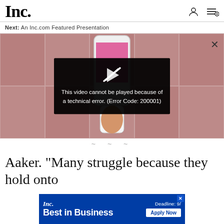Inc.
Next: An Inc.com Featured Presentation
[Figure (screenshot): Video player showing a phone held in a hand against a pink background grid, with a black error overlay reading: This video cannot be played because of a technical error. (Error Code: 200001)]
Aaker. "Many struggle because they hold onto
[Figure (screenshot): Inc. Best in Business advertisement banner with blue background. Shows Inc. logo, 'Best in Business' tagline, 'Deadline: 9/...' and 'Apply Now' button.]